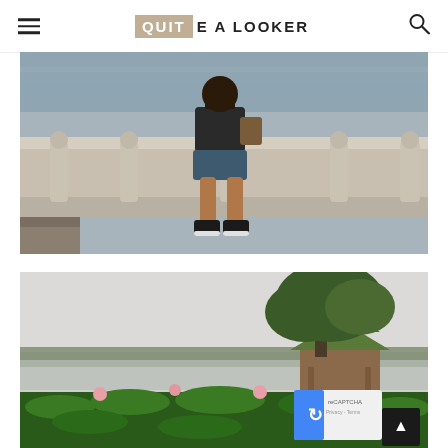QUITE A LOOKER
[Figure (photo): Person sitting on ornate stone bridge railing over water, wearing dark top, denim shorts, and black sneakers. Chinese/Asian architectural stone balustrade visible with decorative carvings.]
[Figure (photo): Wide shot of Chinese park scene with traditional pavilion/pagoda structure near water, large trees, and lush green lotus plants with pink flowers in foreground. Overcast sky. reCAPTCHA badge and scroll-to-top button visible in bottom right corner.]